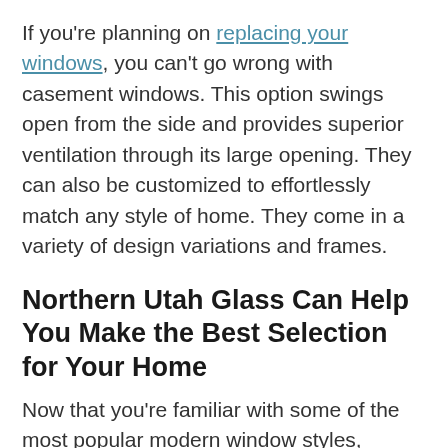If you're planning on replacing your windows, you can't go wrong with casement windows. This option swings open from the side and provides superior ventilation through its large opening. They can also be customized to effortlessly match any style of home. They come in a variety of design variations and frames.
Northern Utah Glass Can Help You Make the Best Selection for Your Home
Now that you're familiar with some of the most popular modern window styles, Northern Utah Glass is ready to help you